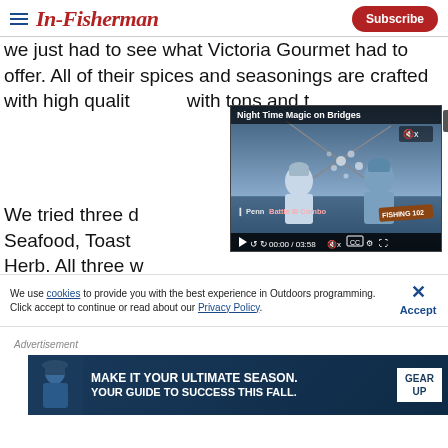In-Fisherman — Subscribe
we just had to see what Victoria Gourmet had to offer. All of their spices and seasonings are crafted with high quality... with tons and t...
[Figure (screenshot): Embedded video player showing 'Night Time Magic on Bridges' with two fishermen on a boat at dusk. Video controls show 00:00 / 03:58. Penn Battle III Combo branding visible.]
We tried three d... Seafood, Toast... Herb. All three w... pick one of Victoria Taylor's seasonings to keep
We use cookies to provide you with the best experience in Outdoors programming. Click accept to continue or read about our Privacy Policy.
Advertisement
[Figure (infographic): Advertisement banner: MAKE IT YOUR ULTIMATE SEASON. YOUR GUIDE TO SUCCESS THIS FALL. GEAR UP]